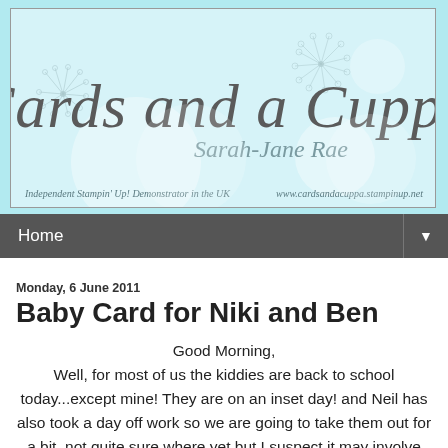[Figure (logo): Cards and a Cuppa blog header banner with cursive text 'Cards and a Cuppa', subtitle 'Sarah-Jane Rae', decorative dandelion graphics on light blue background. Bottom text: 'Independent Stampin' Up! Demonstrator in the UK' and 'www.cardsandacuppa.stampinup.net']
Home ▼
Monday, 6 June 2011
Baby Card for Niki and Ben
Good Morning,
Well, for most of us the kiddies are back to school today...except mine! They are on an inset day! and Neil has also took a day off work so we are going to take them out for a bit, not quite sure where yet but I suspect it may involve breakfast in IKEA :-)